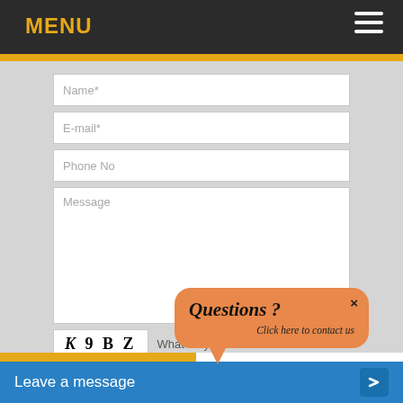MENU
[Figure (screenshot): Web contact form with fields: Name*, E-mail*, Phone No, Message (textarea), CAPTCHA image showing 'K 9 B Z' with prompt 'What do you see?', CAPTCHA input field, and a green submit button. An orange speech bubble overlay reads 'Questions ? Click here to contact us' with an X close button.]
Questions ?
Click here to contact us
Leave a message